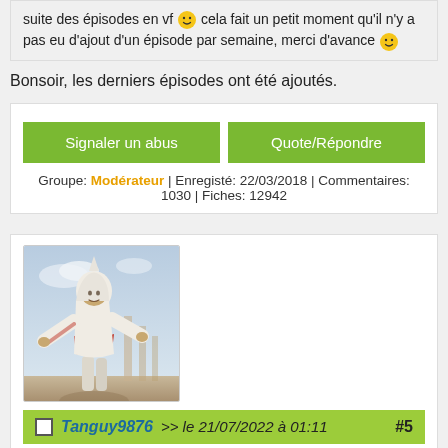suite des épisodes en vf 😀 cela fait un petit moment qu'il n'y a pas eu d'ajout d'un épisode par semaine, merci d'avance 😀
Bonsoir, les derniers épisodes ont été ajoutés.
Signaler un abus
Quote/Répondre
Groupe: Modérateur | Enregisté: 22/03/2018 | Commentaires: 1030 | Fiches: 12942
[Figure (photo): Avatar of user Tanguy9876 showing an Assassin's Creed character in white robes with a red sash, standing with arms outstretched against a sky background.]
Tanguy9876 >> le 21/07/2022 à 01:11  #5
Salut, je voulais savoir si c'était possible d'avoir la suite des épisodes en vf 😀 cela fait un petit